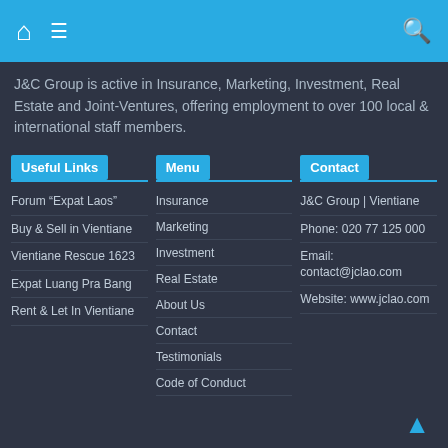Navigation bar with home, menu, and search icons
J&C Group is active in Insurance, Marketing, Investment, Real Estate and Joint-Ventures, offering employment to over 100 local & international staff members.
Useful Links
Forum “Expat Laos”
Buy & Sell in Vientiane
Vientiane Rescue 1623
Expat Luang Pra Bang
Rent & Let In Vientiane
Menu
Insurance
Marketing
Investment
Real Estate
About Us
Contact
Testimonials
Code of Conduct
Contact
J&C Group | Vientiane
Phone: 020 77 125 000
Email: contact@jclao.com
Website: www.jclao.com